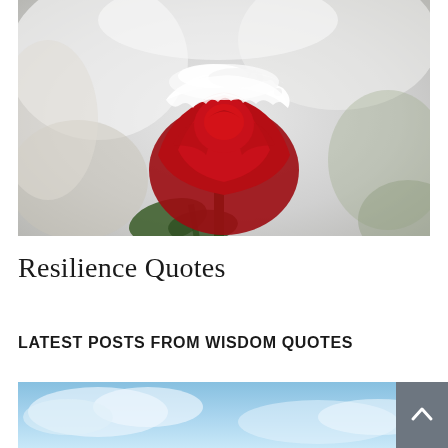[Figure (photo): Close-up photograph of a red rose covered in white snow, with blurred white and green bokeh background. The rose petals are vibrant deep red with snow dusted across the top.]
Resilience Quotes
LATEST POSTS FROM WISDOM QUOTES
[Figure (photo): Partial view of a sky/clouds photograph, cropped at the bottom of the page. Blue sky with clouds visible.]